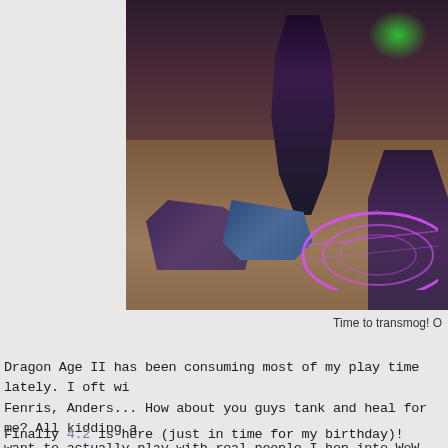[Figure (screenshot): World of Warcraft game screenshot showing characters/avatars gathered in what appears to be an inn or tavern. Purple portal/magic circle glows on the wooden floor. Various fantasy characters and creatures are visible including what appears to be a druid with wings/antlers. Green glow visible in the upper right. The scene is crowded with player characters.]
Time to transmog! O
Dragon Age II has been consuming most of my play time lately. I oft wi... Fenris, Anders... How about you guys tank and heal for me? All kidding a... want to actually play with real people I hop into WoW. Now there is mo...
Finally 4.2 is here (just in time for my birthday)! First thing I did was co...